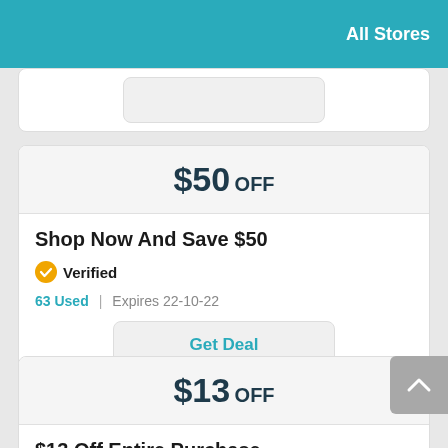All Stores
$50 OFF
Shop Now And Save $50
Verified
63 Used  |  Expires 22-10-22
Get Deal
$13 OFF
$13 Off Entire Purchase
Verified